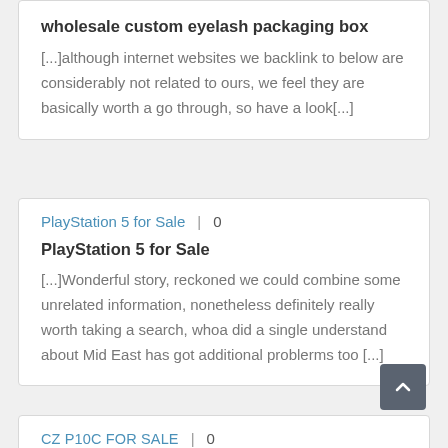wholesale custom eyelash packaging box
[...]although internet websites we backlink to below are considerably not related to ours, we feel they are basically worth a go through, so have a look[...]
PlayStation 5 for Sale  |  0
PlayStation 5 for Sale
[...]Wonderful story, reckoned we could combine some unrelated information, nonetheless definitely really worth taking a search, whoa did a single understand about Mid East has got additional problerms too [...]
CZ P10C FOR SALE  |  0